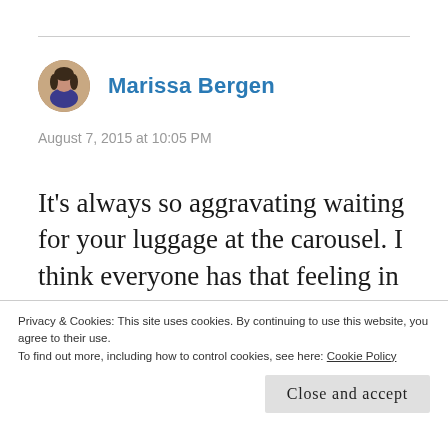[Figure (photo): Circular avatar photo of Marissa Bergen, a woman with dark hair]
Marissa Bergen
August 7, 2015 at 10:05 PM
It's always so aggravating waiting for your luggage at the carousel. I think everyone has that feeling in the pit of their stomach
Privacy & Cookies: This site uses cookies. By continuing to use this website, you agree to their use. To find out more, including how to control cookies, see here: Cookie Policy
Close and accept